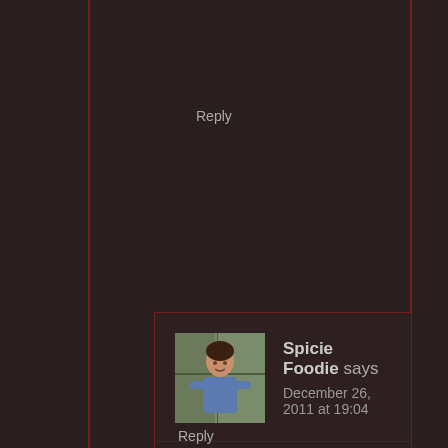Reply
[Figure (photo): Avatar photo of Spicie Foodie, a woman standing indoors]
Spicie Foodie says
December 26, 2011 at 19:04
Hi Kiri, Glad you got to home home and see the markets. Can't wait to see your photos.
Reply